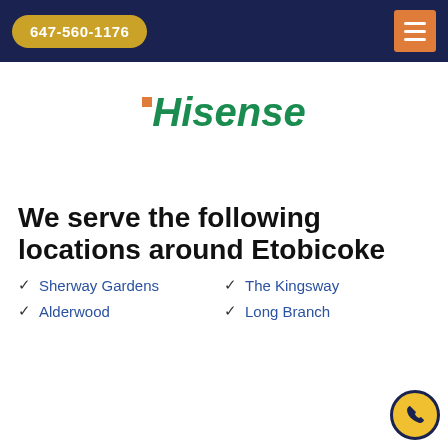647-560-1176
[Figure (logo): Hisense logo in green italic font with orange square accent before the H]
We serve the following locations around Etobicoke
Sherwood Gardens
The Kingsway
Alderwood
Long Branch